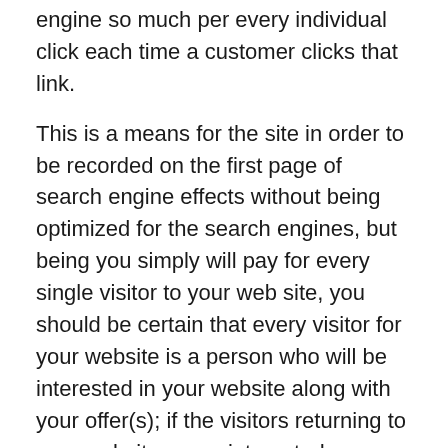engine so much per every individual click each time a customer clicks that link.
This is a means for the site in order to be recorded on the first page of search engine effects without being optimized for the search engines, but being you simply will pay for every single visitor to your web site, you should be certain that every visitor for your website is a person who will be interested in your website along with your offer(s); if the visitors returning to your website are uninterested on your offers, you're going to be throwing away your money with no possibility at creating a profit.
To detect keywords that people can use to locate your site, start using a totally free key word tool like Google ad words and enter some keywords and phrases you imagine people will probably input to locate your site. AdWords (or whatever key word instrument you use) will